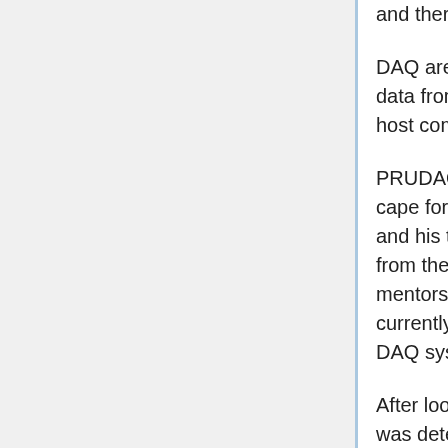and there's a valid reason for that below.
DAQ are the Data Acquisition devices which are used to acquire data from sensors and acts as a bridge between sensors and host computer.
PRUDAQ is a fully open source 40MSPS Data Acquisition (DAQ) cape for the BeagleBone Black or Green designed by Jason Holt and his team at Google Research with a software collaboration from the BeagleLogic creator, Kumar Abhishek(one of the mentors this year).PRUDAQ was created to address a need not currently addressed by the market for a portable and low-cost DAQ system that doesn't compromise on performance.
After looking into the previous years code and the work done it was determined that as of now temperature is